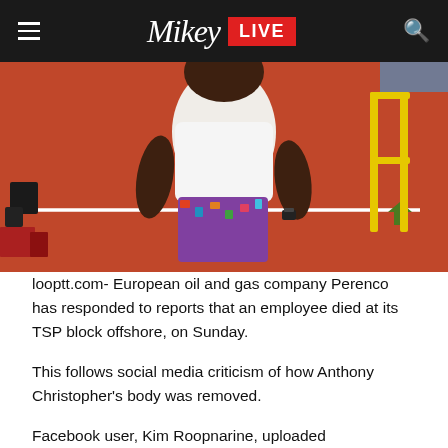Mikey LIVE
[Figure (photo): A person in a white t-shirt and patterned shorts standing on a red surface (offshore platform deck), with yellow railings visible in the background.]
looptt.com- European oil and gas company Perenco has responded to reports that an employee died at its TSP block offshore, on Sunday.
This follows social media criticism of how Anthony Christopher's body was removed.
Facebook user, Kim Roopnarine, uploaded Christopher's photo and called for help to find his family. She also detailed how the man's body was taken away by boat, several hours